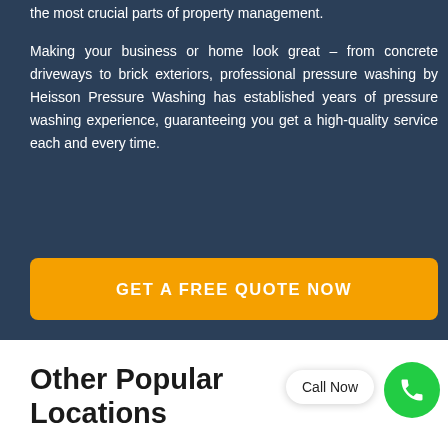the most crucial parts of property management.
Making your business or home look great – from concrete driveways to brick exteriors, professional pressure washing by Heisson Pressure Washing has established years of pressure washing experience, guaranteeing you get a high-quality service each and every time.
GET A FREE QUOTE NOW
Other Popular Locations